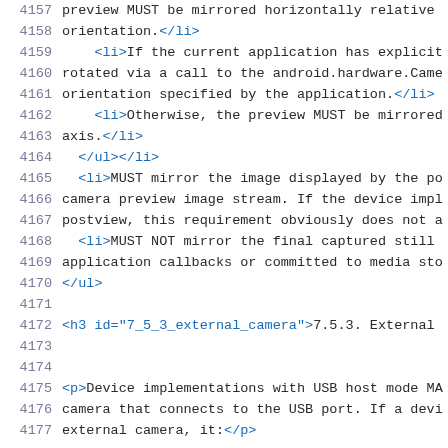4157  preview MUST be mirrored horizontally relative
4158  orientation.</li>
4159      <li>If the current application has explicit
4160  rotated via a call to the android.hardware.Came
4161  orientation specified by the application.</li>
4162      <li>Otherwise, the preview MUST be mirrored
4163  axis.</li>
4164    </ul></li>
4165    <li>MUST mirror the image displayed by the po
4166  camera preview image stream. If the device impl
4167  postview, this requirement obviously does not a
4168    <li>MUST NOT mirror the final captured still
4169  application callbacks or committed to media sto
4170  </ul>
4171
4172  <h3 id="7_5_3_external_camera">7.5.3. External
4173
4174
4175  <p>Device implementations with USB host mode MA
4176  camera that connects to the USB port. If a devi
4177  external camera, it:</p>